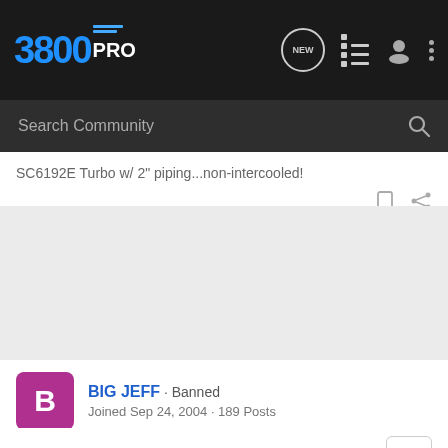3800PRO
Search Community
SC6192E Turbo w/ 2" piping...non-intercooled!
BIG JEFF · Banned
Joined Sep 24, 2004 · 189 Posts
#5 · Sep 28, 2004
Howdy all,